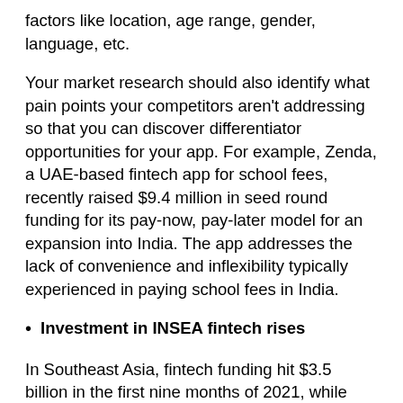factors like location, age range, gender, language, etc.
Your market research should also identify what pain points your competitors aren't addressing so that you can discover differentiator opportunities for your app. For example, Zenda, a UAE-based fintech app for school fees, recently raised $9.4 million in seed round funding for its pay-now, pay-later model for an expansion into India. The app addresses the lack of convenience and inflexibility typically experienced in paying school fees in India.
Investment in INSEA fintech rises
In Southeast Asia, fintech funding hit $3.5 billion in the first nine months of 2021, while India reached $8 billion by the end of that same year. Investors attribute this growth to the rapid adoption of digital payments in recent years.